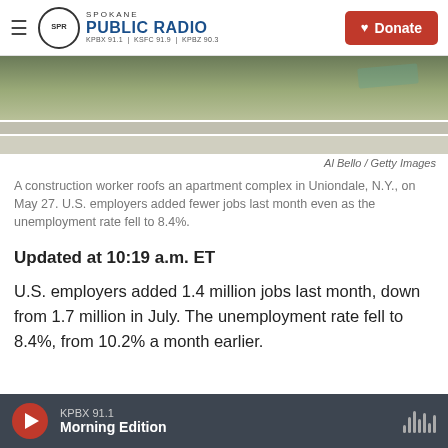Spokane Public Radio — KPBX 91.1 | KSFC 91.9 | KPBZ 90.3 — Donate
[Figure (photo): Partial view of a construction worker roofing an apartment complex, showing roofline and materials]
Al Bello / Getty Images
A construction worker roofs an apartment complex in Uniondale, N.Y., on May 27. U.S. employers added fewer jobs last month even as the unemployment rate fell to 8.4%.
Updated at 10:19 a.m. ET
U.S. employers added 1.4 million jobs last month, down from 1.7 million in July. The unemployment rate fell to 8.4%, from 10.2% a month earlier.
KPBX 91.1 — Morning Edition